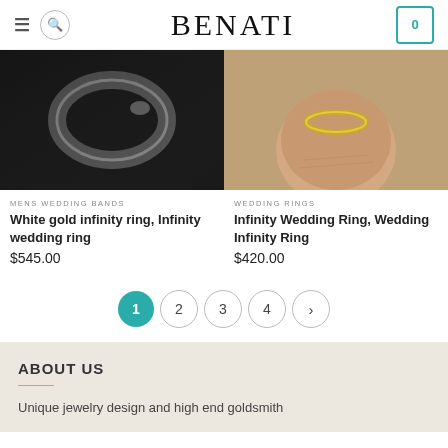BENATI
[Figure (photo): Close-up photo of a dark/black metal ring on a dark background]
[Figure (photo): Close-up photo of a gold infinity ring on a finger]
MENS WEDDING BANDS
White gold infinity ring, Infinity wedding ring
$545.00
WEDDING RINGS
Infinity Wedding Ring, Wedding Infinity Ring
$420.00
ABOUT US
Unique jewelry design and high end goldsmith